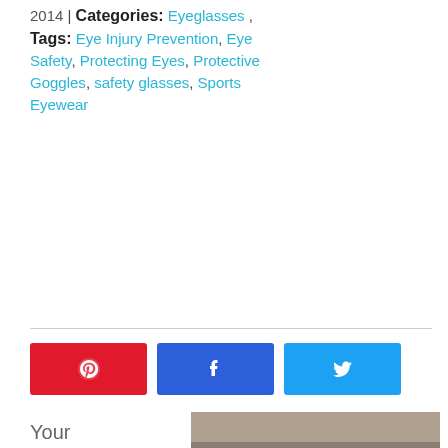2014 | Categories: Eyeglasses , Tags: Eye Injury Prevention, Eye Safety, Protecting Eyes, Protective Goggles, safety glasses, Sports Eyewear
[Figure (other): Social share buttons: Pinterest (red), Facebook (blue), Twitter (light blue)]
[Figure (photo): A cyclist wearing a blue and white jersey (PASSA BARTOLO) with a blue helmet and sports sunglasses, surrounded by spectators at a cycling event.]
Your eyes are a sensitive and vital part of your body and